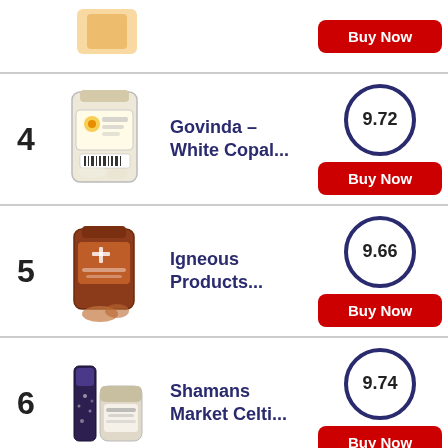Row with Buy Now button (top, partial)
4 - Govinda - White Copal... - Score: 9.72 - Buy Now
5 - Igneous Products... - Score: 9.66 - Buy Now
6 - Shamans Market Celti... - Score: 9.74 - Buy Now
7 - (partial) - Score: 9.14